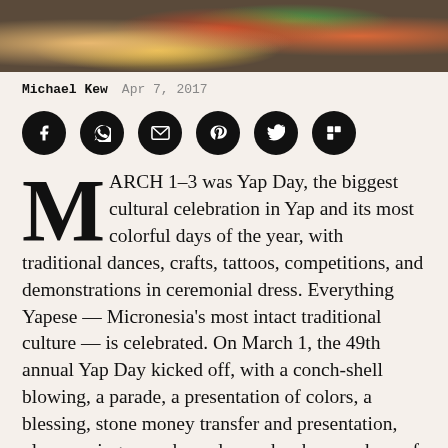[Figure (photo): Photo strip showing people in traditional Yapese ceremonial dress with colorful decorations including flowers and traditional attire]
Michael Kew   Apr 7, 2017
[Figure (infographic): Row of six social media share buttons (Facebook, WhatsApp, Email, Pinterest, Twitter, Flipboard) as black circles with white icons]
MARCH 1–3 was Yap Day, the biggest cultural celebration in Yap and its most colorful days of the year, with traditional dances, crafts, tattoos, competitions, and demonstrations in ceremonial dress. Everything Yapese — Micronesia's most intact traditional culture — is celebrated. On March 1, the 49th annual Yap Day kicked off, with a conch-shell blowing, a parade, a presentation of colors, a blessing, stone money transfer and presentation, plus opening remarks and speeches by members of